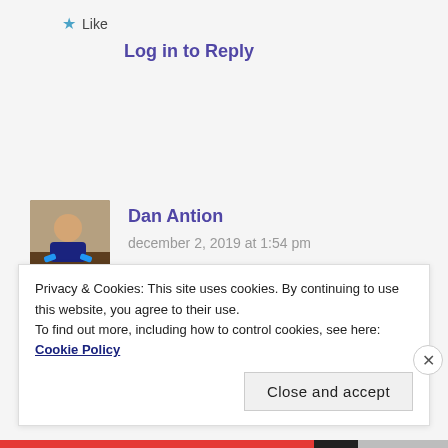★ Like
Log in to Reply
Dan Antion
december 2, 2019 at 1:54 pm
Privacy & Cookies: This site uses cookies. By continuing to use this website, you agree to their use.
To find out more, including how to control cookies, see here: Cookie Policy
Close and accept